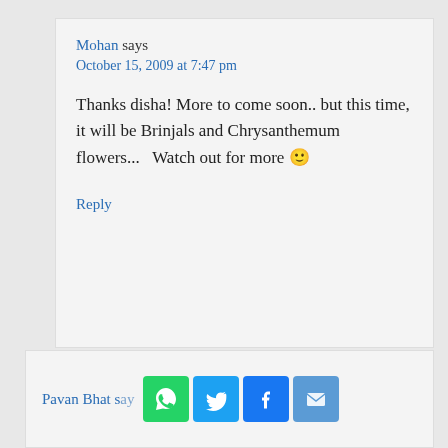Mohan says
October 15, 2009 at 7:47 pm
Thanks disha! More to come soon.. but this time, it will be Brinjals and Chrysanthemum flowers... Watch out for more 🙂
Reply
Pavan Bhat says